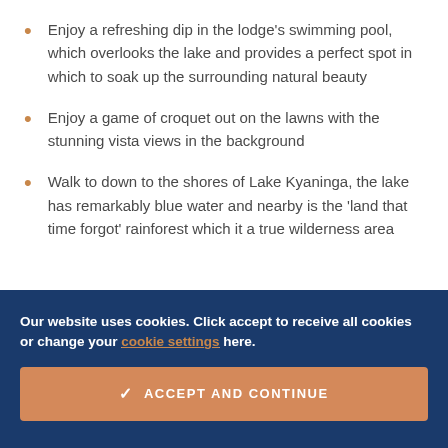Enjoy a refreshing dip in the lodge's swimming pool, which overlooks the lake and provides a perfect spot in which to soak up the surrounding natural beauty
Enjoy a game of croquet out on the lawns with the stunning vista views in the background
Walk to down to the shores of Lake Kyaninga, the lake has remarkably blue water and nearby is the 'land that time forgot' rainforest which it a true wilderness area
Our website uses cookies. Click accept to receive all cookies or change your cookie settings here.
ACCEPT AND CONTINUE